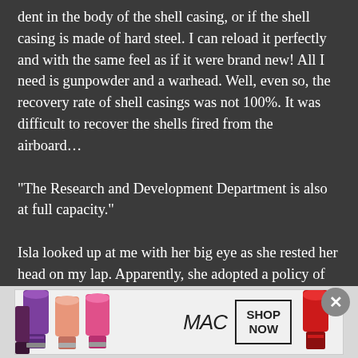dent in the body of the shell casing, or if the shell casing is made of hard steel. I can reload it perfectly and with the same feel as if it were brand new! All I need is gunpowder and a warhead. Well, even so, the recovery rate of shell casings was not 100%. It was difficult to recover the shells fired from the airboard…
“The Research and Development Department is also at full capacity.”
Isla looked up at me with her big eye as she rested her head on my lap. Apparently, she adopted a policy of being pampered today instead of pampering me. Sylphy is also snuggled up to me today, so it seems that both of them have adopted a policy of being pampered today.
[Figure (other): MAC cosmetics advertisement banner showing colorful lipsticks on the left, MAC logo in italic script in the center, a 'SHOP NOW' box, and a red lipstick on the right. Close button (X circle) in upper right of ad area.]